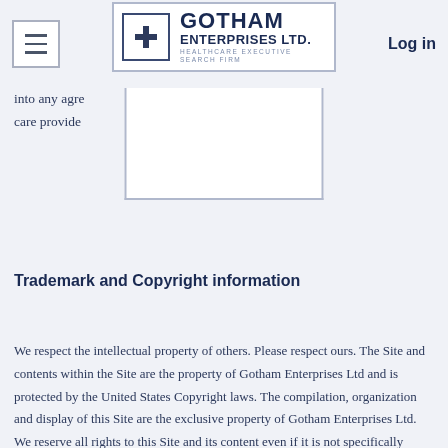Gotham Enterprises Ltd. — Healthcare Executive Search Firm | Log in
into any agre... ical or other health care provide...
Trademark and Copyright information
We respect the intellectual property of others. Please respect ours. The Site and contents within the Site are the property of Gotham Enterprises Ltd and is protected by the United States Copyright laws. The compilation, organization and display of this Site are the exclusive property of Gotham Enterprises Ltd. We reserve all rights to this Site and its content even if it is not specifically granted in any agreements with Us or in the Terms of Use. Gotham Enterprises Ltd designs that are marked indicate that they are registered trademarks. Other designs, marks, graphics, logos, page headers, button icons, scripts